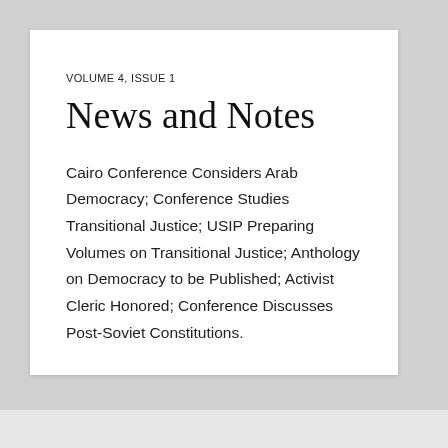VOLUME 4, ISSUE 1
News and Notes
Cairo Conference Considers Arab Democracy; Conference Studies Transitional Justice; USIP Preparing Volumes on Transitional Justice; Anthology on Democracy to be Published; Activist Cleric Honored; Conference Discusses Post-Soviet Constitutions.